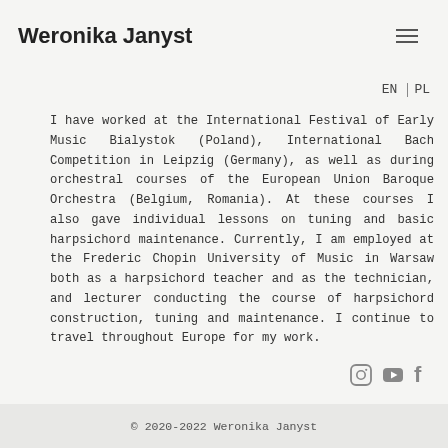Weronika Janyst
ig the rry out lly the
EN | PL
I have worked at the International Festival of Early Music Bialystok (Poland), International Bach Competition in Leipzig (Germany), as well as during orchestral courses of the European Union Baroque Orchestra (Belgium, Romania). At these courses I also gave individual lessons on tuning and basic harpsichord maintenance. Currently, I am employed at the Frederic Chopin University of Music in Warsaw both as a harpsichord teacher and as the technician, and lecturer conducting the course of harpsichord construction, tuning and maintenance. I continue to travel throughout Europe for my work.
© 2020-2022 Weronika Janyst